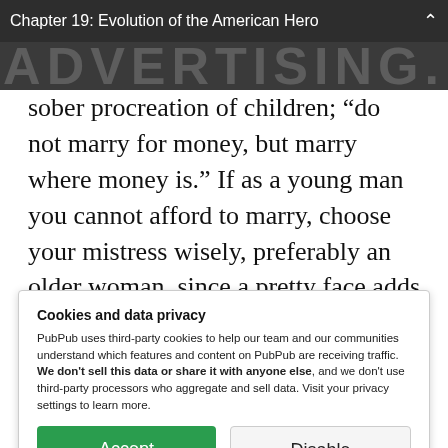Chapter 19: Evolution of the American Hero
[Figure (other): Partial background image showing large text 'ADVERTISING' in dark background]
sober procreation of children; “do not marry for money, but marry where money is.” If as a young man you cannot afford to marry, choose your mistress wisely, preferably an older woman, since a pretty face adds nothing of utility or substantial enjoyment to the transaction and
Cookies and data privacy
PubPub uses third-party cookies to help our team and our communities understand which features and content on PubPub are receiving traffic. We don't sell this data or share it with anyone else, and we don't use third-party processors who aggregate and sell data. Visit your privacy settings to learn more.
Accept  Disable